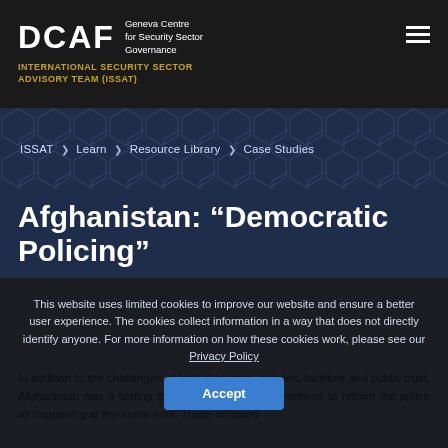DCAF Geneva Centre for Security Sector Governance
INTERNATIONAL SECURITY SECTOR ADVISORY TEAM (ISSAT)
ISSAT ❯ Learn ❯ Resource Library ❯ Case Studies
Afghanistan: “Democratic Policing”
This website uses limited cookies to improve our website and ensure a better user experience. The cookies collect information in a way that does not directly identify anyone. For more information on how these cookies work, please see our Privacy Policy
In addition to the challenges of lack of training, policies, facilities and public trust, Afghanistan was a testing ground for multiple interventions to reform the police all happening at the same time. These included